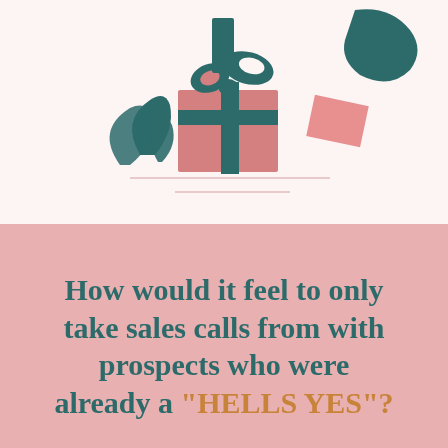[Figure (illustration): Decorative illustration of a gift box with teal/dark green ribbon bow, flanked by abstract teal leaf shapes on left and a pink rectangular shape on right, on a light pink background. Two thin horizontal lines appear below the gift box.]
How would it feel to only take sales calls from with prospects who were already a "HELLS YES"?